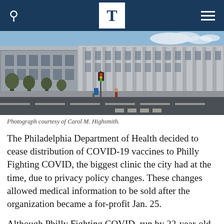T
[Figure (photo): Street-level photograph of a large institutional building in Philadelphia, with a wide road in the foreground and trees lining the sidewalk. Blue sky with clouds visible in the background.]
Photograph courtesy of Carol M. Highsmith.
The Philadelphia Department of Health decided to cease distribution of COVID-19 vaccines to Philly Fighting COVID, the biggest clinic the city had at the time, due to privacy policy changes. These changes allowed medical information to be sold after the organization became a for-profit Jan. 25.
Although Philly Fighting COVID, run by 22-year-old